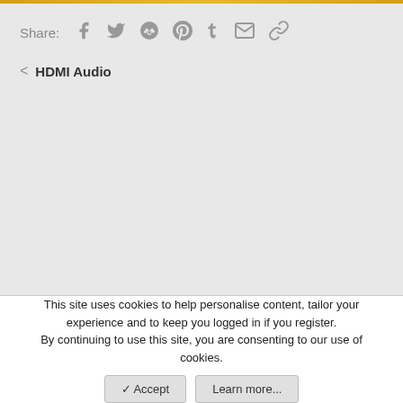Share: [social icons: facebook, twitter, reddit, pinterest, tumblr, email, link]
< HDMI Audio
This site uses cookies to help personalise content, tailor your experience and to keep you logged in if you register.
By continuing to use this site, you are consenting to our use of cookies.
✓ Accept  Learn more...